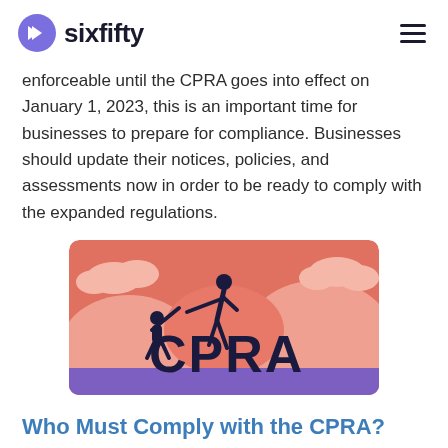sixfifty
enforceable until the CPRA goes into effect on January 1, 2023, this is an important time for businesses to prepare for compliance. Businesses should update their notices, policies, and assessments now in order to be ready to comply with the expanded regulations.
[Figure (illustration): Illustration showing two silhouetted figures, one helping the other climb over large letters spelling 'CPRA', with a coral/salmon colored sky background and purple ground.]
Who Must Comply with the CPRA?